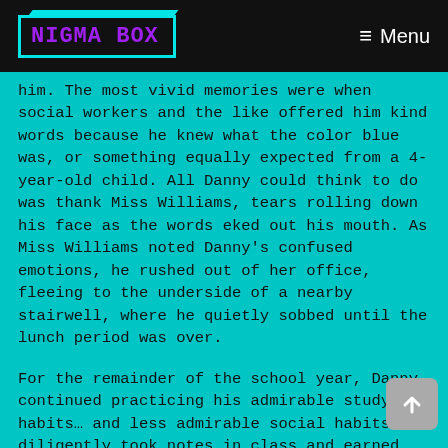NIGMA BOX  ≡ Menu
him. The most vivid memories were when social workers and the like offered him kind words because he knew what the color blue was, or something equally expected from a 4-year-old child. All Danny could think to do was thank Miss Williams, tears rolling down his face as the words eked out his mouth. As Miss Williams noted Danny's confused emotions, he rushed out of her office, fleeing to the underside of a nearby stairwell, where he quietly sobbed until the lunch period was over.
For the remainder of the school year, Danny continued practicing his admirable study habits… and less admirable social habits. He diligently took notes in class and earned A's on nearly every assignment. But he continued refraining from saying more than a few words at a time to any of his peers and always performed group work on his own. But when he was not immersed in his studies, Danny still found the time to use his